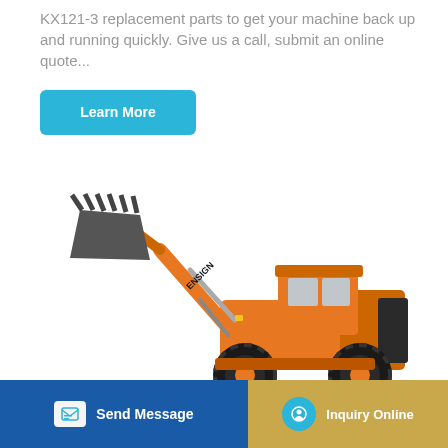KX121-3 replacement parts to get your machine back up and running quickly. Give us a call, submit an online quote...
Learn More
[Figure (photo): Orange ENSIGN brand wheel loader / front-end loader with raised bucket arm and large black tires, shown on white background]
Send Message
Inquiry Online